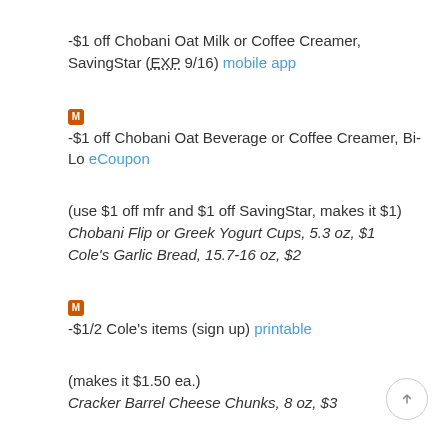-$1 off Chobani Oat Milk or Coffee Creamer, SavingStar (EXP 9/16) mobile app
-$1 off Chobani Oat Beverage or Coffee Creamer, Bi-Lo eCoupon
(use $1 off mfr and $1 off SavingStar, makes it $1)
Chobani Flip or Greek Yogurt Cups, 5.3 oz, $1
Cole's Garlic Bread, 15.7-16 oz, $2
-$1/2 Cole's items (sign up) printable
(makes it $1.50 ea.)
Cracker Barrel Cheese Chunks, 8 oz, $3